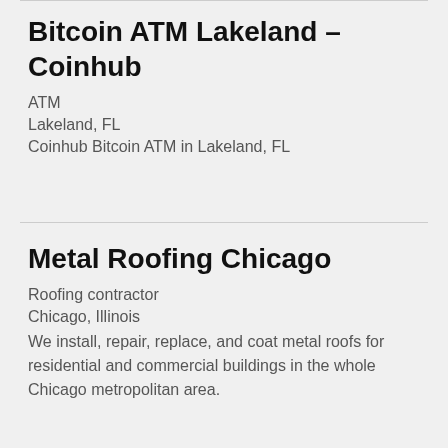Bitcoin ATM Lakeland – Coinhub
ATM
Lakeland, FL
Coinhub Bitcoin ATM in Lakeland, FL
Metal Roofing Chicago
Roofing contractor
Chicago, Illinois
We install, repair, replace, and coat metal roofs for residential and commercial buildings in the whole Chicago metropolitan area.